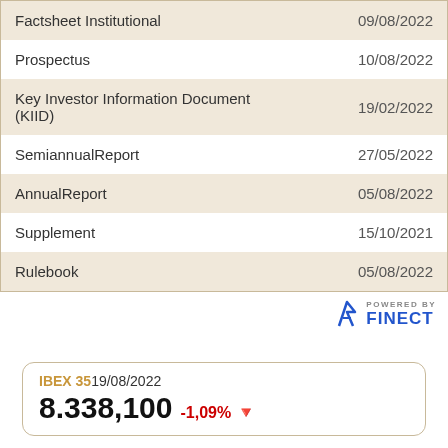| Document | Date |
| --- | --- |
| Factsheet Institutional | 09/08/2022 |
| Prospectus | 10/08/2022 |
| Key Investor Information Document (KIID) | 19/02/2022 |
| SemiannualReport | 27/05/2022 |
| AnnualReport | 05/08/2022 |
| Supplement | 15/10/2021 |
| Rulebook | 05/08/2022 |
[Figure (logo): Powered by FINECT logo with stylized leaf/arrow icon]
IBEX 35 19/08/2022
8.338,100 -1,09%